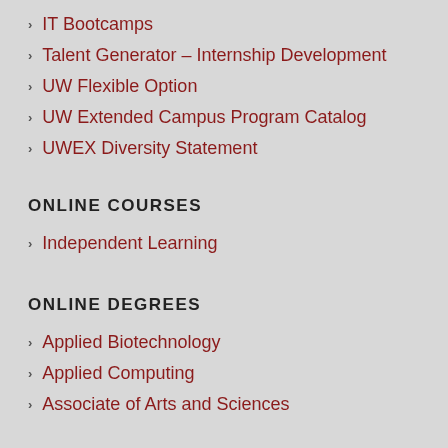IT Bootcamps
Talent Generator – Internship Development
UW Flexible Option
UW Extended Campus Program Catalog
UWEX Diversity Statement
ONLINE COURSES
Independent Learning
ONLINE DEGREES
Applied Biotechnology
Applied Computing
Associate of Arts and Sciences